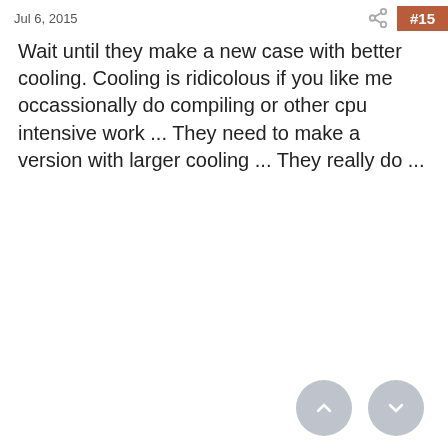Jul 6, 2015  #15
Wait until they make a new case with better cooling. Cooling is ridicolous if you like me occassionally do compiling or other cpu intensive work ... They need to make a version with larger cooling ... They really do ...
yjchua95  macrumors 604
Jul 6, 2015  #  dza said: